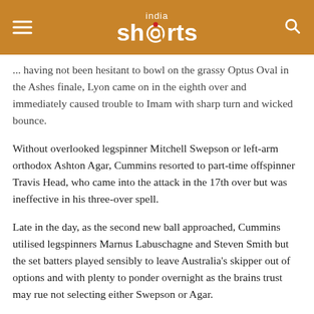india shorts
... having not been hesitant to bowl on the grassy Optus Oval in the Ashes finale, Lyon came on in the eighth over and immediately caused trouble to Imam with sharp turn and wicked bounce.
Without overlooked legspinner Mitchell Swepson or left-arm orthodox Ashton Agar, Cummins resorted to part-time offspinner Travis Head, who came into the attack in the 17th over but was ineffective in his three-over spell.
Late in the day, as the second new ball approached, Cummins utilised legspinners Marnus Labuschagne and Steven Smith but the set batters played sensibly to leave Australia's skipper out of options and with plenty to ponder overnight as the brains trust may rue not selecting either Swepson or Agar.
After rain dented their final chance to acclimatise on Thursday, Australia were thankful they at least toiled in mild conditions around 20 degrees in a far cry from oppressive conditions that often confronts them in Asia.